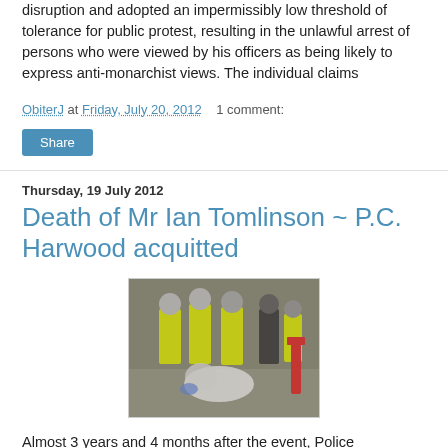disruption and adopted an impermissibly low threshold of tolerance for public protest, resulting in the unlawful arrest of persons who were viewed by his officers as being likely to express anti-monarchist views. The individual claims
ObiterJ at Friday, July 20, 2012   1 comment:
Share
Thursday, 19 July 2012
Death of Mr Ian Tomlinson ~ P.C. Harwood acquitted
[Figure (photo): Police officers in high-visibility yellow jackets at a public protest incident, with a person hunched over on the ground.]
Almost 3 years and 4 months after the event, Police